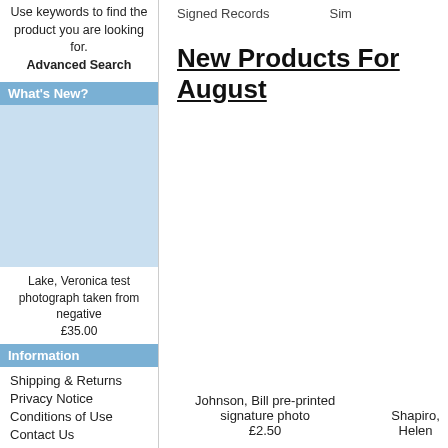Use keywords to find the product you are looking for. Advanced Search
What's New?
[Figure (photo): Blue tinted photo area placeholder for product image]
Lake, Veronica test photograph taken from negative £35.00
Information
Shipping & Returns
Privacy Notice
Conditions of Use
Contact Us
Signed Records
Sim
New Products For August
Johnson, Bill pre-printed signature photo £2.50
Shapiro, Helen